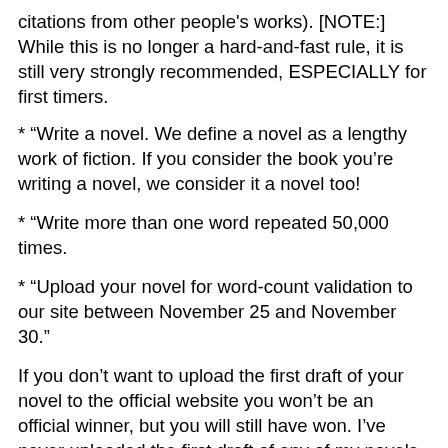citations from other people's works). [NOTE:] While this is no longer a hard-and-fast rule, it is still very strongly recommended, ESPECIALLY for first timers.
* “Write a novel. We define a novel as a lengthy work of fiction. If you consider the book you’re writing a novel, we consider it a novel too!
* “Write more than one word repeated 50,000 times.
* “Upload your novel for word-count validation to our site between November 25 and November 30.”
If you don’t want to upload the first draft of your novel to the official website you won’t be an official winner, but you will still have won. I’ve never uploaded the first draft of any of my novels simply because I hate the thought of anyone being able to see my first draft. (And yes, I know my NaNo account is password protected but I can think of far too many ways that could go wrong.)
I know some people, Stephen King for example, write first...